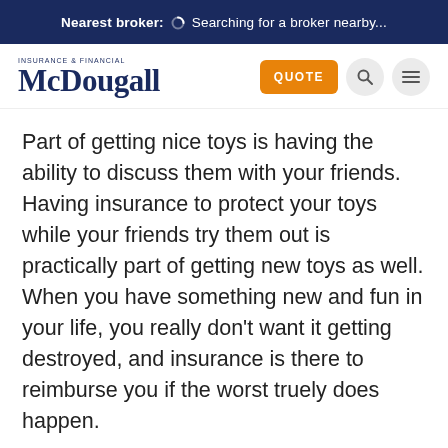Nearest broker: Searching for a broker nearby...
[Figure (logo): McDougall Insurance & Financial logo with navigation buttons including QUOTE, search, and menu icons]
Part of getting nice toys is having the ability to discuss them with your friends. Having insurance to protect your toys while your friends try them out is practically part of getting new toys as well. When you have something new and fun in your life, you really don't want it getting destroyed, and insurance is there to reimburse you if the worst truely does happen.
Of course, McDougall Insurance will save